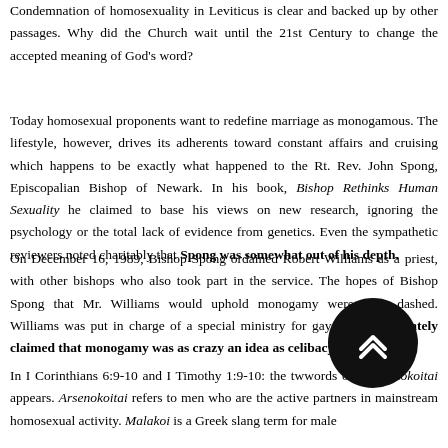Condemnation of homosexuality in Leviticus is clear and backed up by other passages. Why did the Church wait until the 21st Century to change the accepted meaning of God's word?
Today homosexual proponents want to redefine marriage as monogamous. The lifestyle, however, drives its adherents toward constant affairs and cruising which happens to be exactly what happened to the Rt. Rev. John Spong, Episcopalian Bishop of Newark. In his book, Bishop Rethinks Human Sexuality he claimed to base his views on new research, ignoring the psychology or the total lack of evidence from genetics. Even the sympathetic reviewers noted charitably that Spong was somewhat out of his depth.
On December 16, 1989, Bishop Spong ordained Robert Williams as a priest, with other bishops who also took part in the service. The hopes of Bishop Spong that Mr. Williams would uphold monogamy were soon dashed. Williams was put in charge of a special ministry for gays and immediately claimed that monogamy was as crazy an idea as celibacy.
In I Corinthians 6:9-10 and I Timothy 1:9-10: the two Greek words only arsenokoitai appears. Arsenokoitai refers to men who are the active partners in mainstream homosexual activity. Malakoi is a Greek slang term for male
[Figure (other): Black circular back/up navigation button with double chevron up arrow icon]